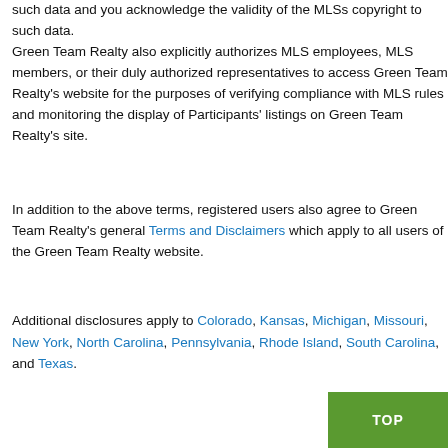such data and you acknowledge the validity of the MLSs copyright to such data. Green Team Realty also explicitly authorizes MLS employees, MLS members, or their duly authorized representatives to access Green Team Realty's website for the purposes of verifying compliance with MLS rules and monitoring the display of Participants' listings on Green Team Realty's site.
In addition to the above terms, registered users also agree to Green Team Realty's general Terms and Disclaimers which apply to all users of the Green Team Realty website.
Additional disclosures apply to Colorado, Kansas, Michigan, Missouri, New York, North Carolina, Pennsylvania, Rhode Island, South Carolina, and Texas.